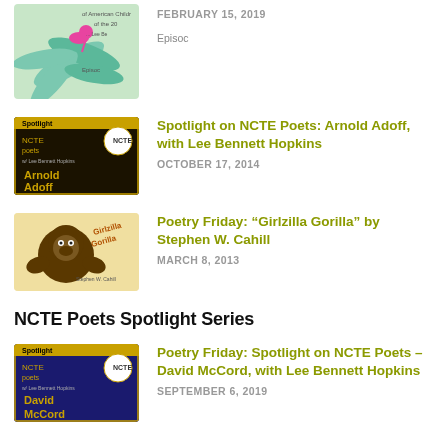[Figure (illustration): Partial thumbnail of a children's book cover with teal leaf/plant design and a bird, partially cut off at top]
FEBRUARY 15, 2019
Episoc
[Figure (illustration): Spotlight on NCTE Poets thumbnail — dark background with gold text 'Spotlight NCTE poets' and 'Arnold Adoff', with a circular logo]
Spotlight on NCTE Poets: Arnold Adoff, with Lee Bennett Hopkins
OCTOBER 17, 2014
[Figure (illustration): Girlzilla Gorilla book cover thumbnail with gorilla image and stylized text 'Girlzilla Gorilla' by Stephen W. Cahill]
Poetry Friday: “Girlzilla Gorilla” by Stephen W. Cahill
MARCH 8, 2013
NCTE Poets Spotlight Series
[Figure (illustration): Spotlight on NCTE Poets thumbnail — blue background with gold text 'Spotlight NCTE poets' and 'David McCord', with a circular logo]
Poetry Friday: Spotlight on NCTE Poets – David McCord, with Lee Bennett Hopkins
SEPTEMBER 6, 2019